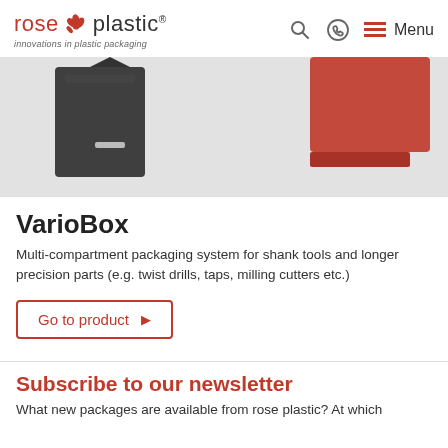rose plastic — innovations in plastic packaging
[Figure (photo): Product photo showing VarioBox packaging system components in black and red on a light grey background]
VarioBox
Multi-compartment packaging system for shank tools and longer precision parts (e.g. twist drills, taps, milling cutters etc.)
Go to product
Subscribe to our newsletter
What new packages are available from rose plastic? At which